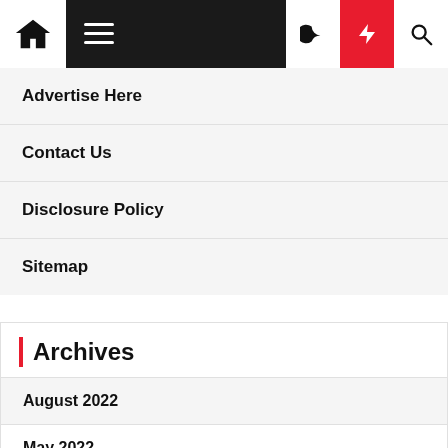Navigation bar with home, menu, moon, bolt, and search icons
Advertise Here
Contact Us
Disclosure Policy
Sitemap
Archives
August 2022
May 2022
April 2022
February 2022